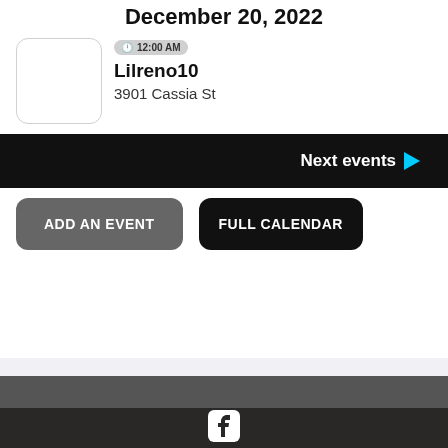December 20, 2022
12:00 AM
Lilreno10
3901 Cassia St
Next events ▶
ADD AN EVENT
FULL CALENDAR
[Figure (logo): Facebook logo icon in white on dark footer background]